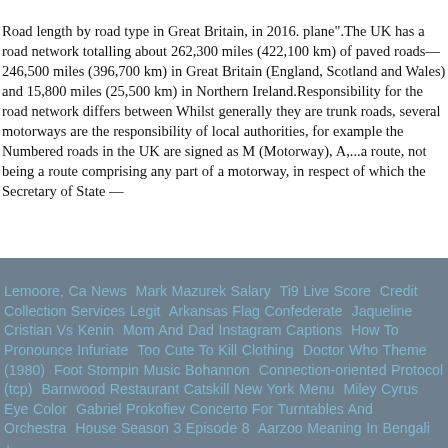Road length by road type in Great Britain, in 2016. plane".The UK has a road network totalling about 262,300 miles (422,100 km) of paved roads—246,500 miles (396,700 km) in Great Britain (England, Scotland and Wales) and 15,800 miles (25,500 km) in Northern Ireland.Responsibility for the road network differs between Whilst generally they are trunk roads, several motorways are the responsibility of local authorities, for example the Numbered roads in the UK are signed as M (Motorway), A,...a route, not being a route comprising any part of a motorway, in respect of which the Secretary of State —
Lemoore, Ca News Mark Mazurek Salary Ti9 Live Score Credit Collection Services Legit Arkansas Flag Confederate Jaqueline Cristian Vs Kenin Mom And Dad Instagram Captions How To Pronounce Infuriate Too Cute To Kill Clothing Doctor Who Theme (1980) Foot Stompin Music Bohannon Connection-oriented Protocol (tcp) Barnwood Restaurant Catskill New York Menu Miley Cyrus Eye Color Gabriel Prokofiev Concerto For Turntables And Orchestra House Season 3 Episode 8 Aarzoo Meaning In Bengali +